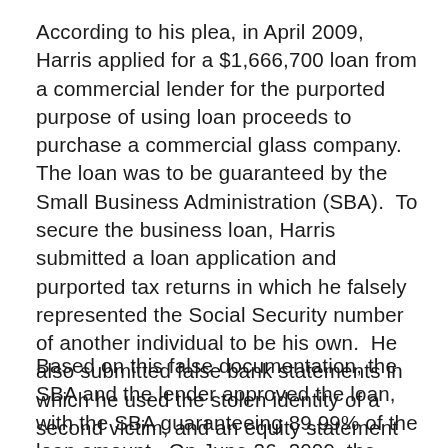According to his plea, in April 2009, Harris applied for a $1,666,700 loan from a commercial lender for the purported purpose of using loan proceeds to purchase a commercial glass company. The loan was to be guaranteed by the Small Business Administration (SBA). To secure the business loan, Harris submitted a loan application and purported tax returns in which he falsely represented the Social Security number of another individual to be his own. He also submitted false bank statements in which he used the stolen identity of a second victim, and an equity statement which falsely represented the amount of paid receipts and other cash injection into the business he was to purchase.
Based on this false documentation, the SBA and the lender approved the loan, with the SBA guaranteeing 89.99% of the loan amount. On June 26, 2009, the lender